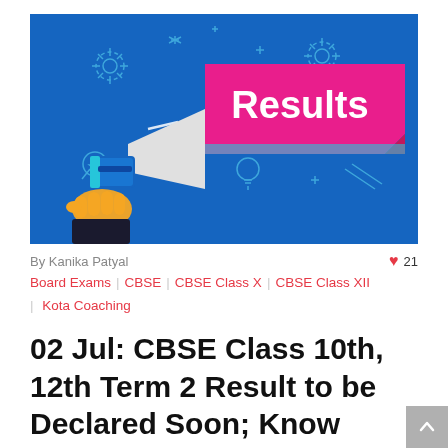[Figure (illustration): Decorative banner image with blue background showing a megaphone/loudspeaker held by a hand, and a pink/magenta banner with white bold text 'Results'. Background has various doodle icons like gears, stars, lightbulb, person icon.]
By Kanika Patyal
♥ 21
Board Exams | CBSE | CBSE Class X | CBSE Class XII | Kota Coaching
02 Jul: CBSE Class 10th, 12th Term 2 Result to be Declared Soon; Know Complete Details